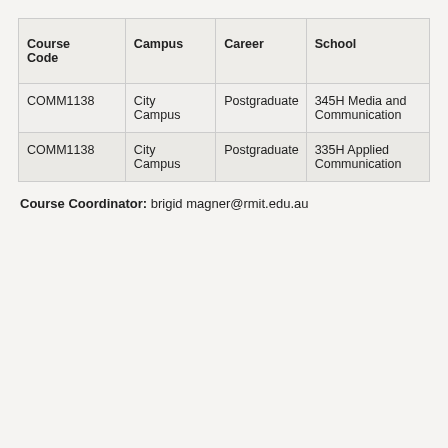| Course Code | Campus | Career | School |
| --- | --- | --- | --- |
| COMM1138 | City Campus | Postgraduate | 345H Media and Communication |
| COMM1138 | City Campus | Postgraduate | 335H Applied Communication |
Course Coordinator: brigid magner@rmit.edu.au